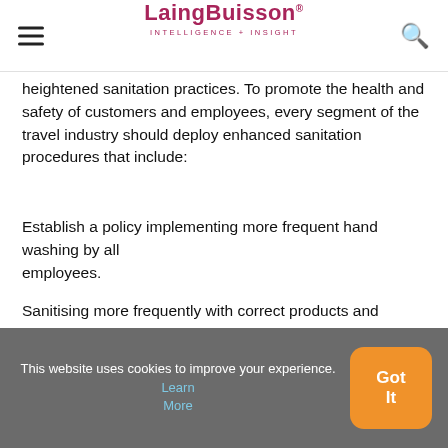LaingBuisson INTELLIGENCE + INSIGHT
heightened sanitation practices. To promote the health and safety of customers and employees, every segment of the travel industry should deploy enhanced sanitation procedures that include:
Establish a policy implementing more frequent hand washing by all employees.
Sanitising more frequently with correct products and disinfectants.
Providing hand sanitiser in public areas throughout facilities.
Modifying business hours when necessary to carry out
This website uses cookies to improve your experience. Learn More